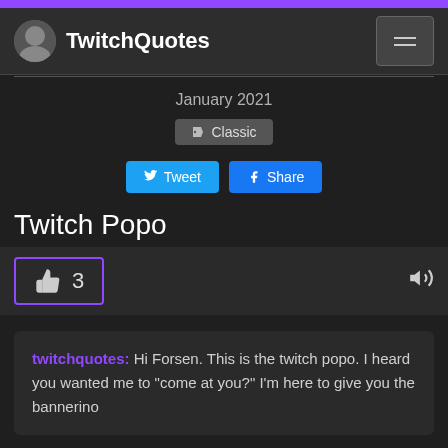TwitchQuotes
January 2021
Classic
Tweet  Share
Twitch Popo
👍 3
twitchquotes: Hi Forsen. This is the twitch popo. I heard you wanted me to "come at you?" I'm here to give you the bannerino